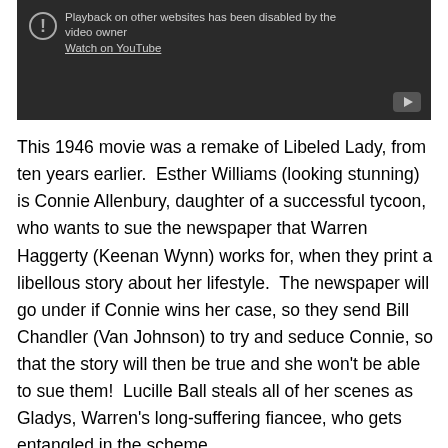[Figure (screenshot): YouTube video embed showing a disabled playback message: 'Playback on other websites has been disabled by the video owner' with a 'Watch on YouTube' link, dark background with YouTube play button icon in bottom-right corner.]
This 1946 movie was a remake of Libeled Lady, from ten years earlier.  Esther Williams (looking stunning) is Connie Allenbury, daughter of a successful tycoon, who wants to sue the newspaper that Warren Haggerty (Keenan Wynn) works for, when they print a libellous story about her lifestyle.  The newspaper will go under if Connie wins her case, so they send Bill Chandler (Van Johnson) to try and seduce Connie, so that the story will then be true and she won't be able to sue them!  Lucille Ball steals all of her scenes as Gladys, Warren's long-suffering fiancee, who gets entangled in the scheme.